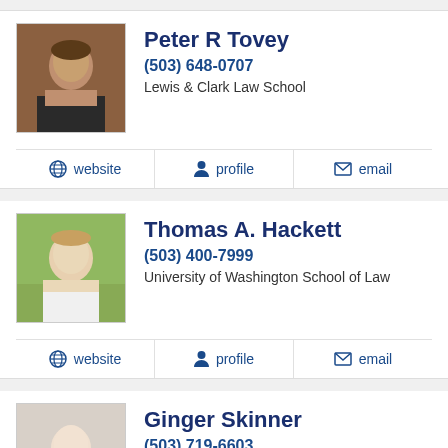[Figure (photo): Headshot of Peter R Tovey, male attorney in suit]
Peter R Tovey
(503) 648-0707
Lewis & Clark Law School
website  profile  email
[Figure (photo): Headshot of Thomas A. Hackett, male attorney outdoors]
Thomas A. Hackett
(503) 400-7999
University of Washington School of Law
website  profile  email
[Figure (photo): Headshot of Ginger Skinner, female attorney]
Ginger Skinner
(503) 719-6603
University of Washington School of Law and University of I...